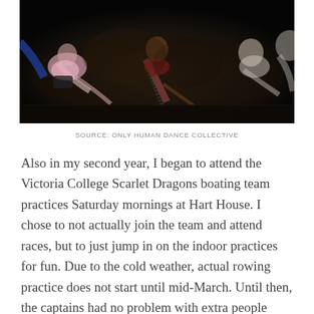[Figure (photo): Photograph of dancers on a dark stage, stretching forward toward the camera, in dramatic stage lighting. Multiple dancers in colorful costumes are visible.]
SOURCE: ONLY HUMAN DANCE COLLECTIVE
Also in my second year, I began to attend the Victoria College Scarlet Dragons boating team practices Saturday mornings at Hart House. I chose to not actually join the team and attend races, but to just jump in on the indoor practices for fun. Due to the cold weather, actual rowing practice does not start until mid-March. Until then, the captains had no problem with extra people joining the indoor workouts, which were as effective as boot camp. It was a great way to exercise with a group of friends